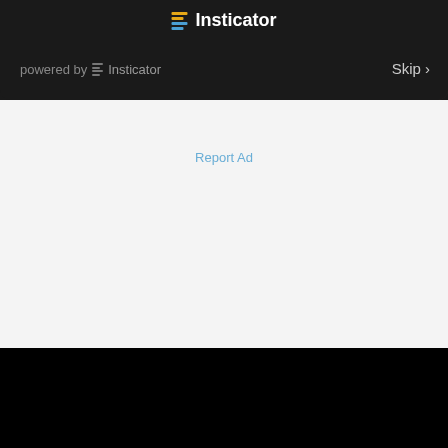[Figure (screenshot): Insticator ad widget header bar with dark background, centered Insticator logo at top, 'powered by Insticator' text at bottom left and 'Skip >' button at bottom right]
Report Ad
[Figure (photo): Black background area at bottom of page, partially visible dark image content]